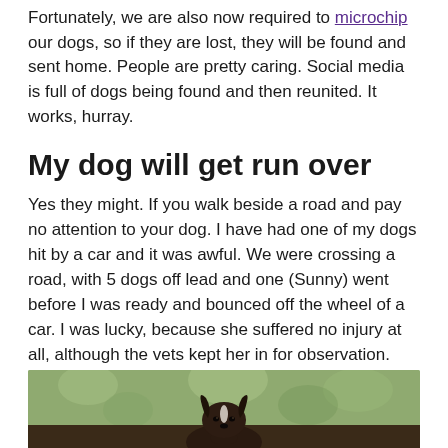Fortunately, we are also now required to microchip our dogs, so if they are lost, they will be found and sent home. People are pretty caring. Social media is full of dogs being found and then reunited. It works, hurray.
My dog will get run over
Yes they might. If you walk beside a road and pay no attention to your dog. I have had one of my dogs hit by a car and it was awful. We were crossing a road, with 5 dogs off lead and one (Sunny) went before I was ready and bounced off the wheel of a car. I was lucky, because she suffered no injury at all, although the vets kept her in for observation.
[Figure (photo): A dark-colored dog (appears to be a Border Collie) photographed outdoors with a blurred green background. The photo shows the dog from roughly the shoulders up, facing the camera.]